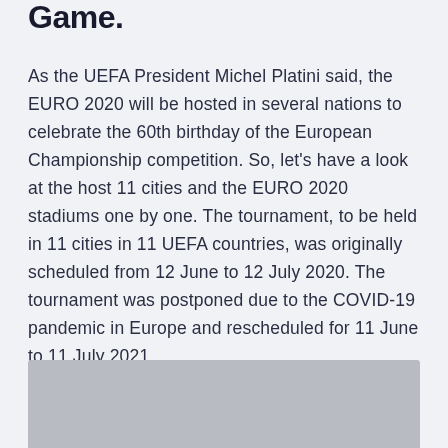Game.
As the UEFA President Michel Platini said, the EURO 2020 will be hosted in several nations to celebrate the 60th birthday of the European Championship competition. So, let's have a look at the host 11 cities and the EURO 2020 stadiums one by one. The tournament, to be held in 11 cities in 11 UEFA countries, was originally scheduled from 12 June to 12 July 2020. The tournament was postponed due to the COVID-19 pandemic in Europe and rescheduled for 11 June to 11 July 2021.
[Figure (photo): Partially visible image at the bottom of the page, appears to be a grey placeholder or image of a stadium/venue.]